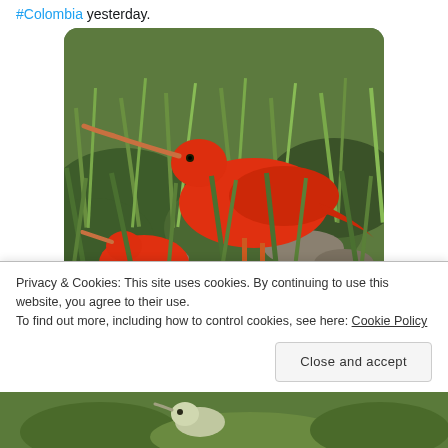#Colombia yesterday.
[Figure (photo): A scarlet ibis with a long curved beak standing in green grass, with another red bird partially visible in the foreground.]
21 likes
Mike Alibone @bonxie · Aug 26  One of the most zany-coloured birds I've ever seen! Golden-eared Tanager in
Privacy & Cookies: This site uses cookies. By continuing to use this website, you agree to their use.
To find out more, including how to control cookies, see here: Cookie Policy
Close and accept
[Figure (photo): Bottom strip showing a partially visible bird photo with green foliage.]